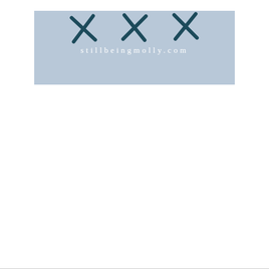[Figure (logo): Logo for stillbeingmolly.com: a light steel-blue rectangular banner with three hand-drawn dark teal X marks at the top and the website URL 'stillbeingmolly.com' in white spaced serif lettering below]